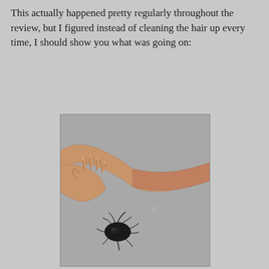This actually happened pretty regularly throughout the review, but I figured instead of cleaning the hair up every time, I should show you what was going on:
[Figure (photo): A doll's arm/hand resting on a gray surface, with a small clump of dark (black) hair sitting on the surface in front of it.]